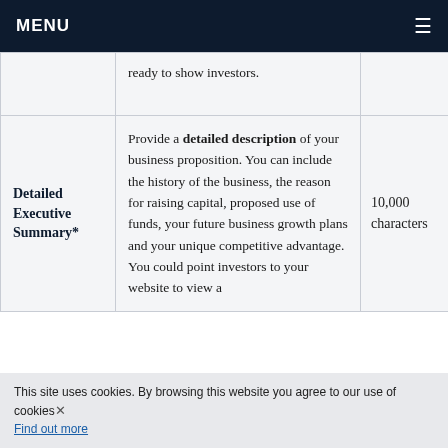MENU
|  |  |  |
| --- | --- | --- |
|  | ready to show investors. |  |
| Detailed Executive Summary* | Provide a detailed description of your business proposition. You can include the history of the business, the reason for raising capital, proposed use of funds, your future business growth plans and your unique competitive advantage. You could point investors to your website to view a | 10,000 characters |
This site uses cookies. By browsing this website you agree to our use of cookies. Find out more